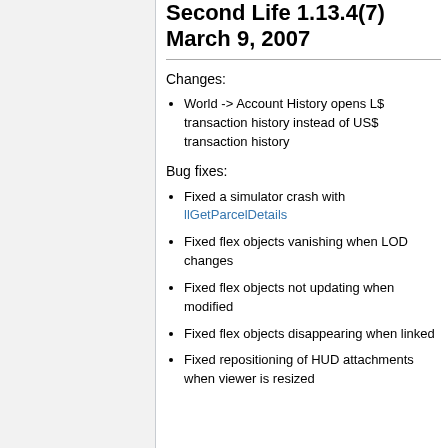Second Life 1.13.4(7) March 9, 2007
Changes:
World -> Account History opens L$ transaction history instead of US$ transaction history
Bug fixes:
Fixed a simulator crash with llGetParcelDetails
Fixed flex objects vanishing when LOD changes
Fixed flex objects not updating when modified
Fixed flex objects disappearing when linked
Fixed repositioning of HUD attachments when viewer is resized